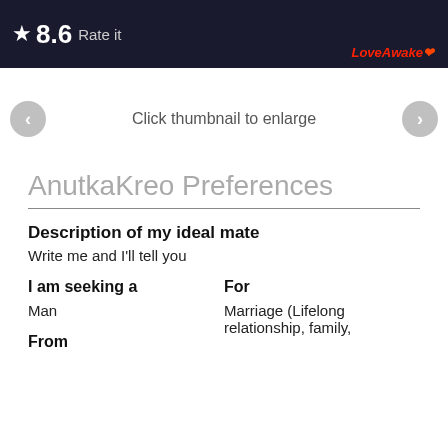[Figure (screenshot): Dark banner image with star icon, rating 8.6, Rate it text, and LoveAwake logo]
Click thumbnail to enlarge
AnutkaKreo Preferences
Description of my ideal mate
Write me and I'll tell you
I am seeking a
Man
For
Marriage (Lifelong relationship, family,
From